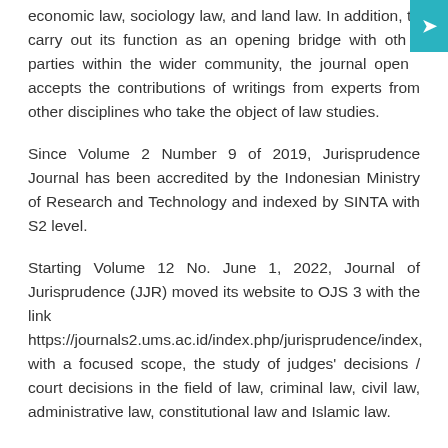economic law, sociology law, and land law. In addition, to carry out its function as an opening bridge with other parties within the wider community, the journal openly accepts the contributions of writings from experts from other disciplines who take the object of law studies.
Since Volume 2 Number 9 of 2019, Jurisprudence Journal has been accredited by the Indonesian Ministry of Research and Technology and indexed by SINTA with S2 level.
Starting Volume 12 No. June 1, 2022, Journal of Jurisprudence (JJR) moved its website to OJS 3 with the link https://journals2.ums.ac.id/index.php/jurisprudence/index, with a focused scope, the study of judges' decisions / court decisions in the field of law, criminal law, civil law, administrative law, constitutional law and Islamic law.